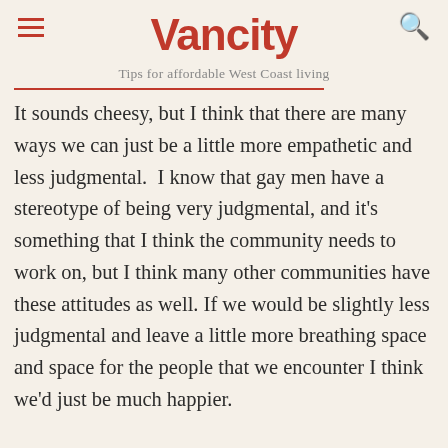Vancity
Tips for affordable West Coast living
It sounds cheesy, but I think that there are many ways we can just be a little more empathetic and less judgmental.  I know that gay men have a stereotype of being very judgmental, and it's something that I think the community needs to work on, but I think many other communities have these attitudes as well. If we would be slightly less judgmental and leave a little more breathing space and space for the people that we encounter I think we'd just be much happier.